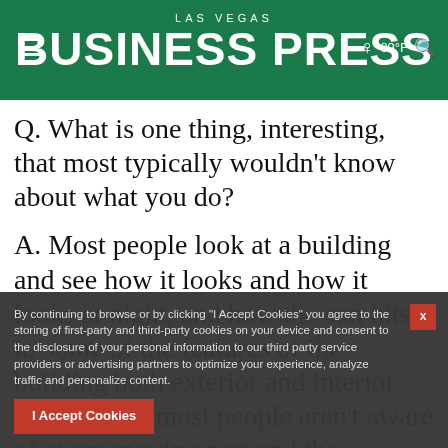LAS VEGAS BUSINESS PRESS
Q. What is one thing, interesting, that most typically wouldn't know about what you do?
A. Most people look at a building and see how it looks and how it looks at night, and how the sun hits it, some of the features of the building both exterior and interior design. But, most people aren't aware of every moving part and the... Everything that brings the building to life is the result of consulting mechanical electrical engineers. Mostly, there are big
By continuing to browse or by clicking "I Accept Cookies" you agree to the storing of first-party and third-party cookies on your device and consent to the disclosure of your personal information to our third party service providers or advertising partners to optimize your experience, analyze traffic and personalize content.
I Accept Cookies